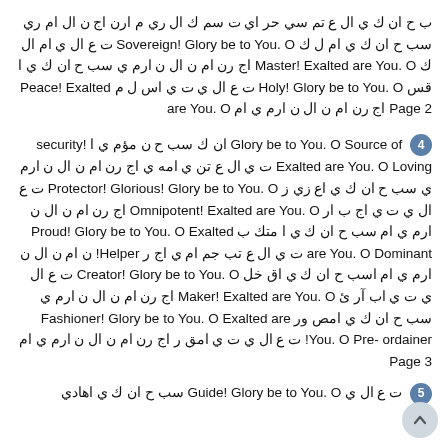ب ح ان ك ي ال ع تم سي حر اي ت سم ك ال ري م ارن اج ن ال ام ري سب ح ان ك ي ام ل ك Sovereign! Glory be to You. O ت ع ال ي ام ال ك Master! Exalted are You. O اج رن ام ن ال ن ارم ي سب ح ان ك ي ا قس Holy! Glory be to You. O ت ع ال ي ت ي اس ل م Peace! Exalted are You. O اج رن ام ن ال ن ارم ي ام Page 2
4 Glory be to You. O Source of ان ك سب ح ن مؤم ي ا security! Exalted are You. O Loving ت ي ال ع تن ي امه ي اج رن ام ن ال ن ارم ي سب ح ان ك ي اع زي ز Protector! Glorious! Glory be to You. O ت ع ال ي ت ي اج ب ار Omnipotent! Exalted are You. O اج رن ام ن ال ن ارم ي ام سب ح ان ك ي ا متك ب Proud! Glory be to You. O Exalted are You. O Dominant ت ي ال ع تب جم ام ي اج ر Helper! ن ام ن ال ن ارم ي ام اسب ح ان ك ي اق خل Creator! Glory be to You. O ت ع ال ي ت ي اب آر ئ Maker! Exalted are You. O اج رن ام ن ال ن ارم ي سب ح ان ك ي امص ور Fashioner! Glory be to You. O Exalted are You. O Pre-ordainer! ت ع ال ي ت ي امق ر اج رن ام ن ال ن ارم ي ام Page 3
5 ت ع ال ي Guide! Glory be to You. O سب ح ان ك ي اهادي